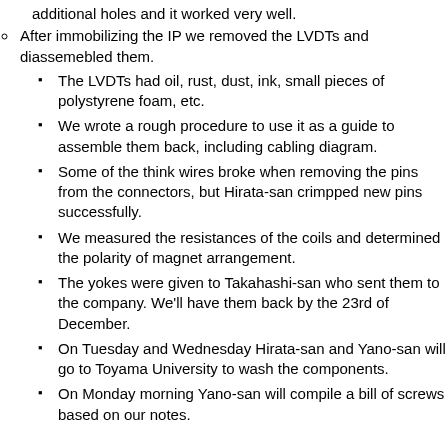additional holes and it worked very well.
After immobilizing the IP we removed the LVDTs and diassemebled them.
The LVDTs had oil, rust, dust, ink, small pieces of polystyrene foam, etc.
We wrote a rough procedure to use it as a guide to assemble them back, including cabling diagram.
Some of the think wires broke when removing the pins from the connectors, but Hirata-san crimpped new pins successfully.
We measured the resistances of the coils and determined the polarity of magnet arrangement.
The yokes were given to Takahashi-san who sent them to the company. We'll have them back by the 23rd of December.
On Tuesday and Wednesday Hirata-san and Yano-san will go to Toyama University to wash the components.
On Monday morning Yano-san will compile a bill of screws based on our notes.